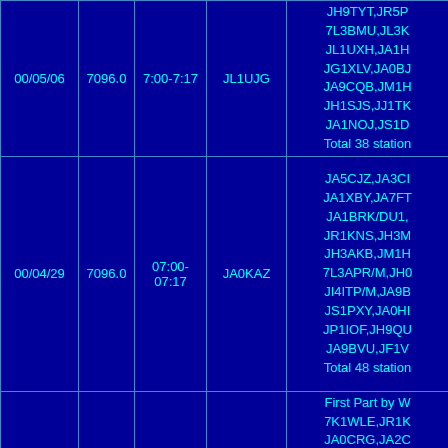| Date | Freq | Time | Net | Stations |
| --- | --- | --- | --- | --- |
| 00/05/06 | 7096.0 | 7:00-7:17 | JL1UJG | JH9TYT,JR5P...7L3BMU,JL3K...JL1UXH,JA1H...JG1XLV,JA0BJ...JA9CQB,JM1H...JH1SJS,JJ1TK...JA1NOJ,JS1D...Total 38 stations |
| 00/04/29 | 7096.0 | 07:00-07:17 | JA0KAZ | JA5CJZ,JA3C...JA1XBY,JA7F...JA1BRK/DU1,...JR1KNS,JH3M...JH3AKB,JM1H...7L3APR/M,JH0...JI4ITP/M,JA9B...JS1PXY,JA0HI...JP1IOF,JH9QU...JA9BVU,JF1V...Total 48 stations |
|  |  |  |  | First Part by W...7K1WLE,JR1K...JA0CRG,JA2C...JA1KVT,JH0R...JH9TYT,JH4T... |